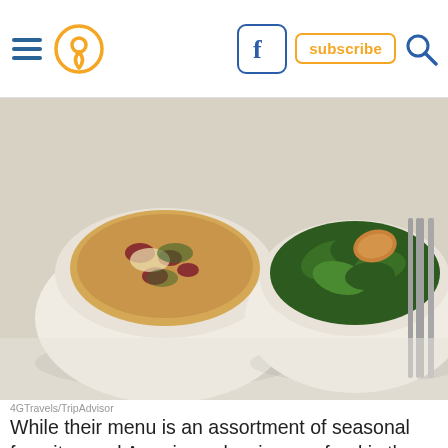Navigation bar with hamburger menu, location icon, Facebook button, subscribe button, search icon
[Figure (photo): Two white bowls on a white table — left bowl contains a flatbread/pizza with tomatoes, cheese, and herbs; right bowl contains a green salad with a fried element on top; fork and knife visible on right side]
4GTravels/TripAdvisor
While their menu is an assortment of seasonal favorites and American classics, seafood is the star of the show at this lakefront charmer. Pier W is tucked away in the suburbs, but Clevelanders can't get enough of the restaurants' panoramic views. For a full article on this cherished eatery, click here
[Figure (screenshot): Advertisement banner: Topgolf logo, Ashburn OPEN 10AM-11PM, 20356 Commonwealth Center..., blue navigation arrow icon on right]
9. Bin 216, 1515 Euclid Ave., Cleveland